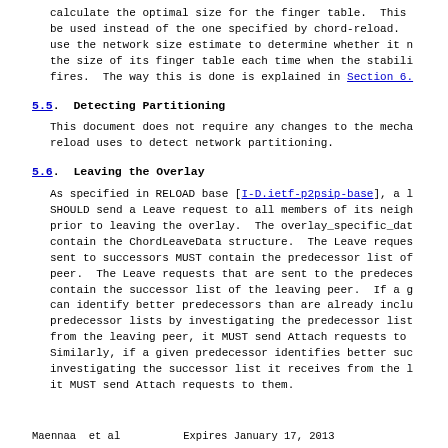calculate the optimal size for the finger table.  This be used instead of the one specified by chord-reload. use the network size estimate to determine whether it n the size of its finger table each time when the stabili fires.  The way this is done is explained in Section 6.
5.5.  Detecting Partitioning
This document does not require any changes to the mecha reload uses to detect network partitioning.
5.6.  Leaving the Overlay
As specified in RELOAD base [I-D.ietf-p2psip-base], a l SHOULD send a Leave request to all members of its neigh prior to leaving the overlay.  The overlay_specific_dat contain the ChordLeaveData structure.  The Leave reques sent to successors MUST contain the predecessor list of peer.  The Leave requests that are sent to the predeces contain the successor list of the leaving peer.  If a g can identify better predecessors than are already inclu predecessor lists by investigating the predecessor list from the leaving peer, it MUST send Attach requests to Similarly, if a given predecessor identifies better suc investigating the successor list it receives from the l it MUST send Attach requests to them.
Maennaa  et al          Expires January 17, 2013